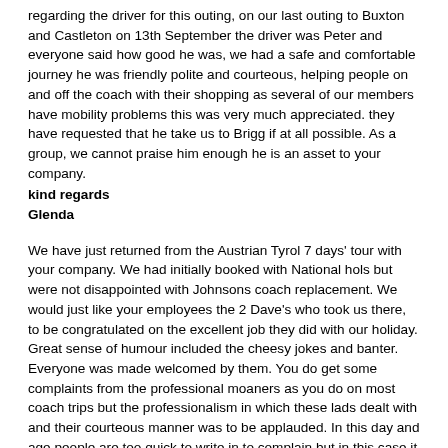regarding the driver for this outing, on our last outing to Buxton and Castleton on 13th September the driver was Peter and everyone said how good he was, we had a safe and comfortable journey he was friendly polite and courteous, helping people on and off the coach with their shopping as several of our members have mobility problems this was very much appreciated. they have requested that he take us to Brigg if at all possible. As a group, we cannot praise him enough he is an asset to your company.
kind regards
Glenda
We have just returned from the Austrian Tyrol 7 days' tour with your company. We had initially booked with National hols but were not disappointed with Johnsons coach replacement. We would just like your employees the 2 Dave's who took us there, to be congratulated on the excellent job they did with our holiday. Great sense of humour included the cheesy jokes and banter. Everyone was made welcomed by them. You do get some complaints from the professional moaners as you do on most coach trips but the professionalism in which these lads dealt with and their courteous manner was to be applauded. In this day and age people are too quick to write in to complain but in this case it is a positive letter of thanks to them.